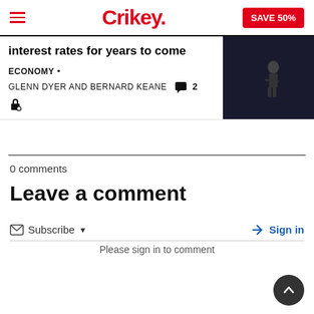Crikey. SAVE 50%
interest rates for years to come
ECONOMY • GLENN DYER AND BERNARD KEANE  2
[Figure (photo): Dark background photo of a person walking]
0 comments
Leave a comment
Subscribe ▼   Sign in
Please sign in to comment